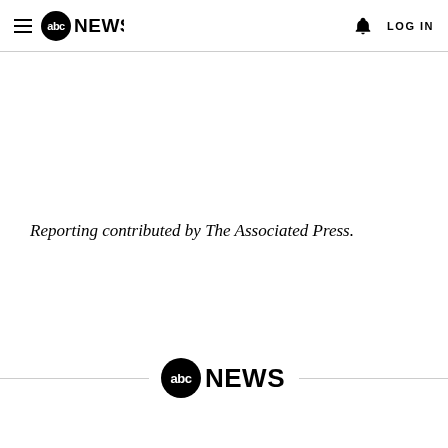abc NEWS  LOG IN
Reporting contributed by The Associated Press.
[Figure (logo): ABC News logo in footer with horizontal rules on each side]